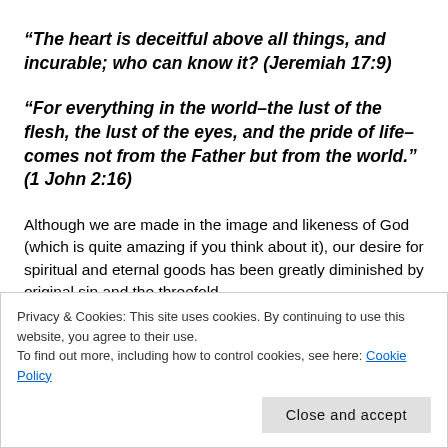“The heart is deceitful above all things, and incurable; who can know it? (Jeremiah 17:9)
“For everything in the world–the lust of the flesh, the lust of the eyes, and the pride of life–comes not from the Father but from the world.” (1 John 2:16)
Although we are made in the image and likeness of God (which is quite amazing if you think about it), our desire for spiritual and eternal goods has been greatly diminished by original sin and the threefold
Privacy & Cookies: This site uses cookies. By continuing to use this website, you agree to their use.
To find out more, including how to control cookies, see here: Cookie Policy